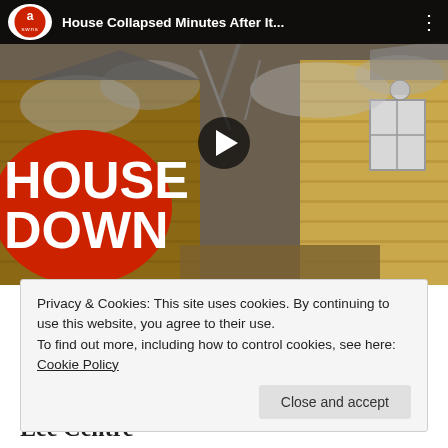[Figure (screenshot): YouTube-style embedded video thumbnail showing a collapsing house with smoke and debris. Red circle overlay with 'HOUSE DOWN' text. Video title bar reads 'House Collapsed Minutes After It...' with SWNS logo. Play button in center.]
Privacy & Cookies: This site uses cookies. By continuing to use this website, you agree to their use.
To find out more, including how to control cookies, see here: Cookie Policy
Close and accept
Lee Centre